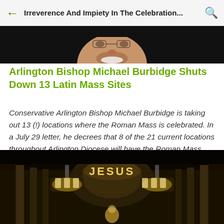Irreverence And Impiety In The Celebration...
[Figure (photo): Close-up photo of a man (Bishop Michael Burbidge) smiling against a dark background]
Arlington Bishop Michael Burbidge Shuts Down 13 Latin Mass Sites
Conservative Arlington Bishop Michael Burbidge is taking out 13 (!) locations where the Roman Mass is celebrated. In a July 29 letter, he decrees that 8 of the 21 current locations throughout Arlington Diocese will have the Roman Mass available for the ...
[Figure (photo): Interior of a church with dramatic lighting, chandeliers, columns, and the word JESUS illuminated above the altar]